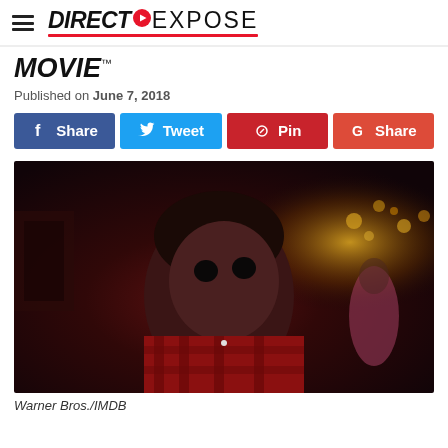DIRECT EXPOSE
MOVIE
Published on June 7, 2018
[Figure (other): Social sharing buttons: Facebook Share, Twitter Tweet, Pinterest Pin, Google+ Share]
[Figure (photo): A young boy with dark hair wearing a red plaid shirt, looking upward with an intense expression. Dark cinematic lighting. A woman in the background. Movie still from a Warner Bros. film.]
Warner Bros./IMDB